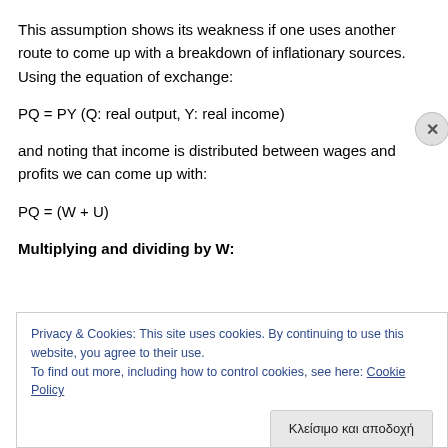This assumption shows its weakness if one uses another route to come up with a breakdown of inflationary sources. Using the equation of exchange:
and noting that income is distributed between wages and profits we can come up with:
Multiplying and dividing by W:
Privacy & Cookies: This site uses cookies. By continuing to use this website, you agree to their use. To find out more, including how to control cookies, see here: Cookie Policy